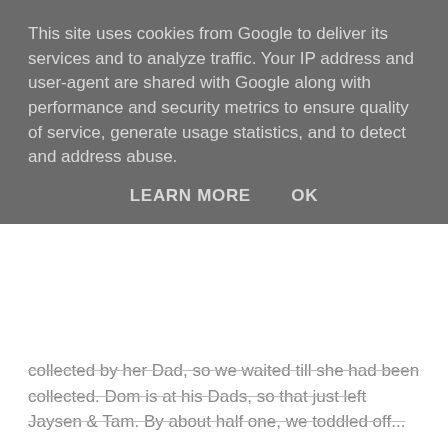This site uses cookies from Google to deliver its services and to analyze traffic. Your IP address and user-agent are shared with Google along with performance and security metrics to ensure quality of service, generate usage statistics, and to detect and address abuse.
LEARN MORE   OK
collected by her Dad, so we waited till she had been collected. Dom is at his Dads, so that just left Jaysen & Tam. By about half one, we toddled off...
Halfway to the forest, the bus went through a big patch of smoke. "Hmmm, big fire somewhere..." I said to the kids in passing, and thought no more of it. A few minutes later, we saw the source - up on the hill in the actual "Langdon Hills"
I wasn't sure if it was a proper fire or someone burning wood or something similar, but the closer we got, the bigger the plume of smoke. Definitely not good. The bus slowed, we looked out the front, and saw the nice police lady closing the road...